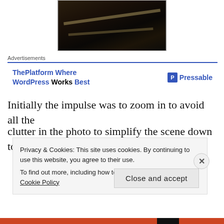[Figure (photo): Dark nighttime photo showing railway tracks or industrial scene with diagonal lines, very low exposure]
Advertisements
[Figure (screenshot): Advertisement banner: 'ThePlatform Where WordPress Works Best' with Pressable logo on the right]
Initially the impulse was to zoom in to avoid all the clutter in the photo to simplify the scene down to the
Privacy & Cookies: This site uses cookies. By continuing to use this website, you agree to their use. To find out more, including how to control cookies, see here: Cookie Policy
Close and accept